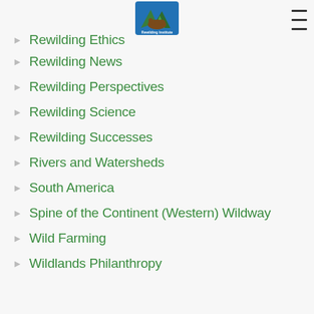Rewilding Institute logo and hamburger menu
Rewilding Ethics
Rewilding News
Rewilding Perspectives
Rewilding Science
Rewilding Successes
Rivers and Watersheds
South America
Spine of the Continent (Western) Wildway
Wild Farming
Wildlands Philanthropy